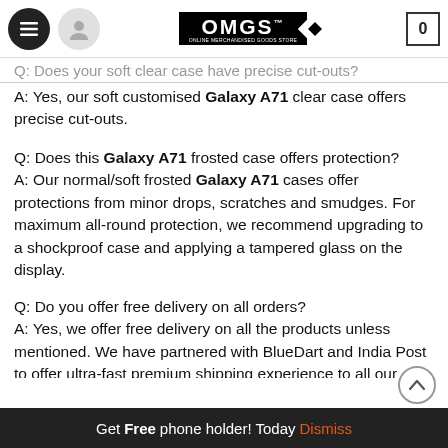OMGS - ONLINE MERCHANDISED GOODS STORE
Q: Does your soft clear case have precise cut-outs?
A: Yes, our soft customised Galaxy A71 clear case offers precise cut-outs.
Q: Does this Galaxy A71 frosted case offers protection?
A: Our normal/soft frosted Galaxy A71 cases offer protections from minor drops, scratches and smudges. For maximum all-round protection, we recommend upgrading to a shockproof case and applying a tampered glass on the display.
Q: Do you offer free delivery on all orders?
A: Yes, we offer free delivery on all the products unless mentioned. We have partnered with BlueDart and India Post to offer ultra-fast premium shipping experience to all our customers across India.
Get Free phone holder! Today Dismiss